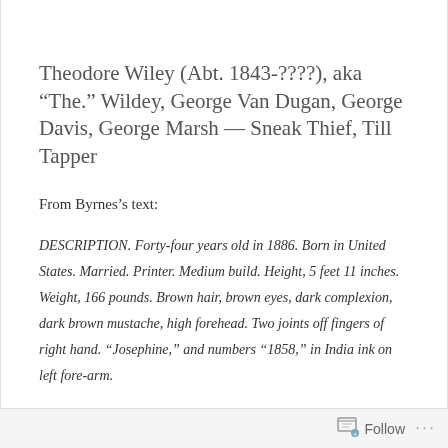Theodore Wiley (Abt. 1843-????), aka “The.” Wildey, George Van Dugan, George Davis, George Marsh — Sneak Thief, Till Tapper
From Byrnes’s text:
DESCRIPTION. Forty-four years old in 1886. Born in United States. Married. Printer. Medium build. Height, 5 feet 11 inches. Weight, 166 pounds. Brown hair, brown eyes, dark complexion, dark brown mustache, high forehead. Two joints off fingers of right hand. “Josephine,” and numbers “1858,” in India ink on left fore-arm.
Follow •••